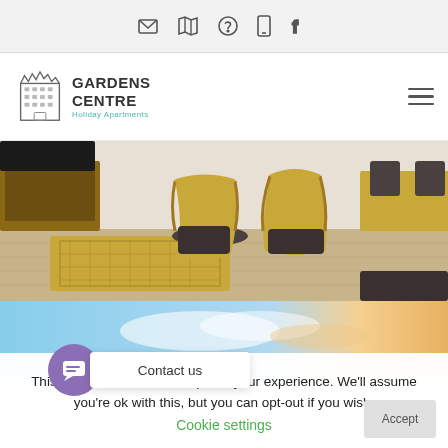Icons: email, map, help, phone, facebook
[Figure (logo): Gardens Centre Holiday Apartments logo with building icon]
[Figure (photo): Interior photo of holiday apartment showing rattan chairs with dark cushions, wooden coffee table, and dining table on light wood flooring]
[Figure (photo): Exterior/sky photo showing blue sky with warm orange cloud tones]
This site uses cookies to improve your experience. We'll assume you're ok with this, but you can opt-out if you wish.
Cookie settings